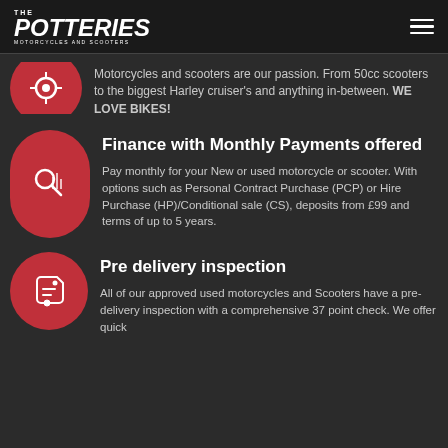The Potteries Motorcycles and Scooters
[Figure (logo): The Potteries Motorcycles and Scooters logo with stylized text]
[Figure (illustration): Hamburger menu icon (three horizontal lines)]
[Figure (illustration): Red circle icon with a small icon inside (partially visible at top)]
Motorcycles and scooters are our passion. From 50cc scooters to the biggest Harley cruiser's and anything in-between. WE LOVE BIKES!
[Figure (illustration): Red circle icon with magnifying glass / search and bar chart icon]
Finance with Monthly Payments offered
Pay monthly for your New or used motorcycle or scooter. With options such as Personal Contract Purchase (PCP) or Hire Purchase (HP)/Conditional sale (CS), deposits from £99 and terms of up to 5 years.
[Figure (illustration): Red circle icon with a price tag icon]
Pre delivery inspection
All of our approved used motorcycles and Scooters have a pre-delivery inspection with a comprehensive 37 point check. We offer quick